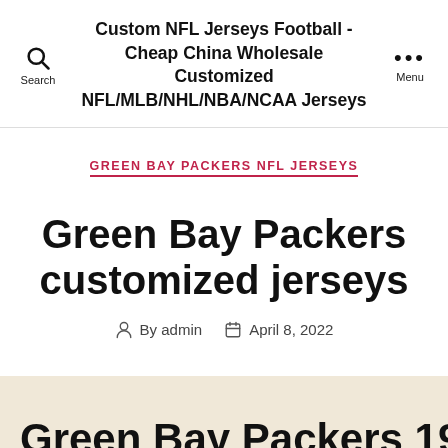Custom NFL Jerseys Football - Cheap China Wholesale Customized NFL/MLB/NHL/NBA/NCAA Jerseys
GREEN BAY PACKERS NFL JERSEYS
Green Bay Packers customized jerseys
By admin  April 8, 2022
Green Bay Packers 1950